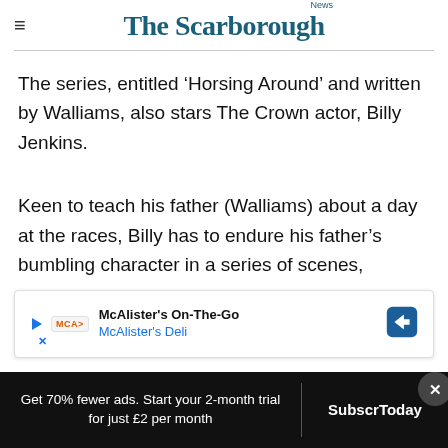The Scarborough News
The series, entitled ‘Horsing Around’ and written by Walliams, also stars The Crown actor, Billy Jenkins.
Keen to teach his father (Walliams) about a day at the races, Billy has to endure his father’s bumbling character in a series of scenes, inclu[ding...] cham[pionship]
[Figure (screenshot): Advertisement for McAlister's On-The-Go by McAlister's Deli with blue direction sign icon]
Get 70% fewer ads. Start your 2-month trial for just £2 per month
Subscribe Today